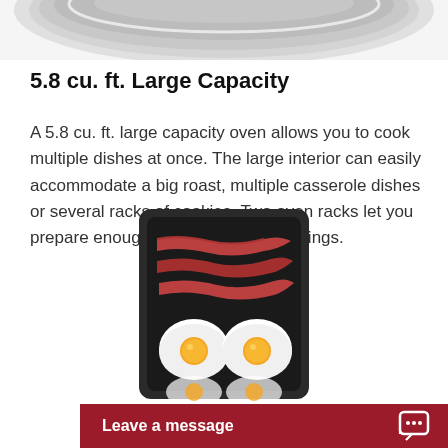[Figure (photo): Partial view of a stainless steel oven or appliance top, cropped at the top of the page]
5.8 cu. ft. Large Capacity
A 5.8 cu. ft. large capacity oven allows you to cook multiple dishes at once. The large interior can easily accommodate a big roast, multiple casserole dishes or several racks of cookies. Two oven racks let you prepare enough food for large gatherings.
[Figure (illustration): Illustration of a dark/black oven rack or griddle tray with bacon strips and fried eggs on it]
Leave a message